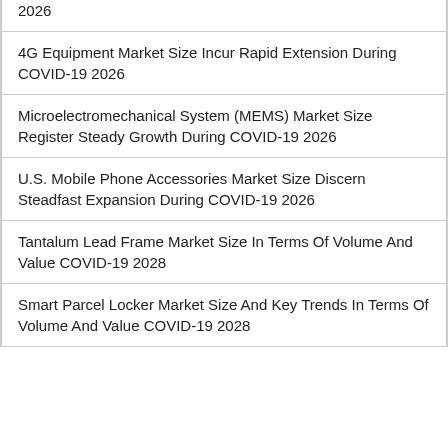2026
4G Equipment Market Size Incur Rapid Extension During COVID-19 2026
Microelectromechanical System (MEMS) Market Size Register Steady Growth During COVID-19 2026
U.S. Mobile Phone Accessories Market Size Discern Steadfast Expansion During COVID-19 2026
Tantalum Lead Frame Market Size In Terms Of Volume And Value COVID-19 2028
Smart Parcel Locker Market Size And Key Trends In Terms Of Volume And Value COVID-19 2028